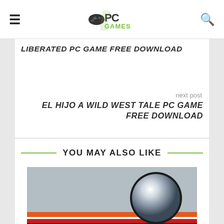PC GAMES (logo header with hamburger menu and search icon)
LIBERATED PC GAME FREE DOWNLOAD
next post
EL HIJO A WILD WEST TALE PC GAME FREE DOWNLOAD
YOU MAY ALSO LIKE
[Figure (photo): Stern Pinball game logo with a silver pinball and Stern Pinball text on a dark navy background with red and orange lettering]